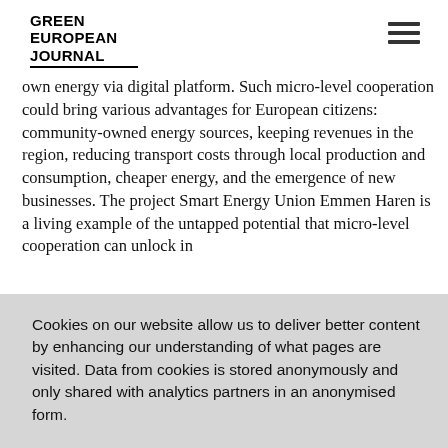GREEN EUROPEAN JOURNAL
own energy via digital platform. Such micro-level cooperation could bring various advantages for European citizens: community-owned energy sources, keeping revenues in the region, reducing transport costs through local production and consumption, cheaper energy, and the emergence of new businesses. The project Smart Energy Union Emmen Haren is a living example of the untapped potential that micro-level cooperation can unlock in
Cookies on our website allow us to deliver better content by enhancing our understanding of what pages are visited. Data from cookies is stored anonymously and only shared with analytics partners in an anonymised form.